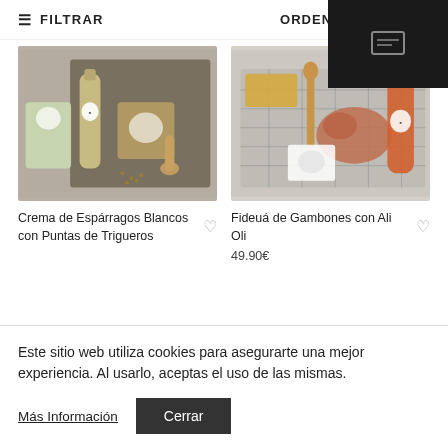≡ FILTRAR    ORDEN POR D
[Figure (photo): Product photo: Crema de Espárragos Blancos con Puntas de Trigueros - glass bottle and packaged ingredients on dark tray with wooden spoon]
Crema de Espárragos Blancos con Puntas de Trigueros
[Figure (photo): Product photo: Fideuá de Gambones con Ali Oli - ingredients including seafood, orange bottle, spices on wire rack tray]
Fideuá de Gambones con Ali Oli
49.90€
Este sitio web utiliza cookies para asegurarte una mejor experiencia. Al usarlo, aceptas el uso de las mismas.
Más Información
Cerrar